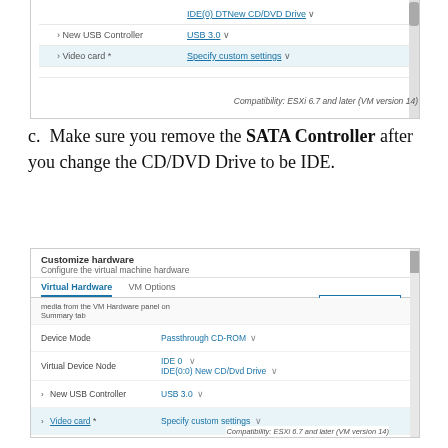[Figure (screenshot): Top screenshot showing VM hardware UI with IDE CD/DVD Drive, New USB Controller (USB 3.0), Video card (Specify custom settings), and compatibility note: ESXi 6.7 and later (VM version 14)]
c. Make sure you remove the SATA Controller after you change the CD/DVD Drive to be IDE.
[Figure (screenshot): Bottom screenshot of 'Customize hardware' panel showing Virtual Hardware tab with Device Mode (Passthrough CD-ROM), Virtual Device Node (IDE 0, IDE(0:0) New CD/DVD Drive), New USB Controller (USB 3.0), Video card (Specify custom settings), VMCI device, New SATA Controller (cursor hovering on delete icon), Other (Additional Hardware), and compatibility note: ESXi 6.7 and later (VM version 14)]